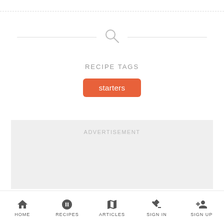[Figure (screenshot): Search icon with horizontal lines on either side]
RECIPE TAGS
starters
ADVERTISEMENT
HOME  RECIPES  ARTICLES  SIGN IN  SIGN UP